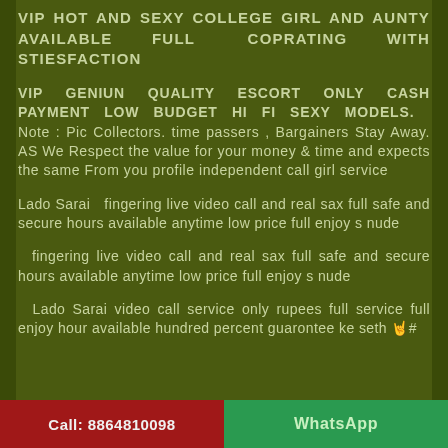VIP HOT AND SEXY COLLEGE GIRL AND AUNTY AVAILABLE FULL COPRATING WITH STIESFACTION
VIP GENIUN QUALITY ESCORT ONLY CASH PAYMENT LOW BUDGET HI FI SEXY MODELS. Note : Pic Collectors. time passers , Bargainers Stay Away. AS We Respect the value for your money & time and expects the same From you profile independent call girl service
Lado Sarai  fingering live video call and real sax full safe and secure hours available anytime low price full enjoy s nude
fingering live video call and real sax full safe and secure hours available anytime low price full enjoy s nude
Lado Sarai video call service only rupees full service full enjoy hour available hundred percent guarontee ke seth 🤘#
Call: 8864810098    WhatsApp